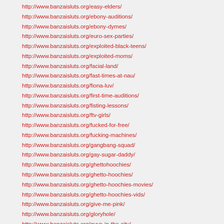http://www.banzaisluts.org/easy-elders/
http://www.banzaisluts.org/ebony-auditions/
http://www.banzaisluts.org/ebony-dymes/
http://www.banzaisluts.org/euro-sex-parties/
http://www.banzaisluts.org/exploited-black-teens/
http://www.banzaisluts.org/exploited-moms/
http://www.banzaisluts.org/facial-land/
http://www.banzaisluts.org/fast-times-at-nau/
http://www.banzaisluts.org/fiona-luv/
http://www.banzaisluts.org/first-time-auditions/
http://www.banzaisluts.org/fisting-lessons/
http://www.banzaisluts.org/ftv-girls/
http://www.banzaisluts.org/fucked-for-free/
http://www.banzaisluts.org/fucking-machines/
http://www.banzaisluts.org/gangbang-squad/
http://www.banzaisluts.org/gay-sugar-daddy/
http://www.banzaisluts.org/ghettohoochies/
http://www.banzaisluts.org/ghetto-hoochies/
http://www.banzaisluts.org/ghetto-hoochies-movies/
http://www.banzaisluts.org/ghetto-hoochies-vids/
http://www.banzaisluts.org/give-me-pink/
http://www.banzaisluts.org/gloryhole/
http://www.banzaisluts.org/guys-in-the-city/
http://www.banzaisluts.org/her-first-anal-sex/
http://www.banzaisluts.org/her-first-ass-to-mouth/
http://www.banzaisluts.org/her-first-big-cock/
http://www.banzaisluts.org/her-first-lesbian-sex/
http://www.banzaisluts.org/his-first-gay-sex/
http://www.banzaisluts.org/his-first-huge-cock/
http://www.banzaisluts.org/hogtied/
http://www.banzaisluts.org/hood-hunter/
http://www.banzaisluts.org/horny-spanish-flies/
http://www.banzaisluts.org/horny-traveler/
http://www.banzaisluts.org/hot-bods-cool-rides/
http://www.banzaisluts.org/hustler/
http://www.banzaisluts.org/imlive/
http://www.banzaisluts.org/indian-dream-girl/
http://www.banzaisluts.org/internet-hookups/